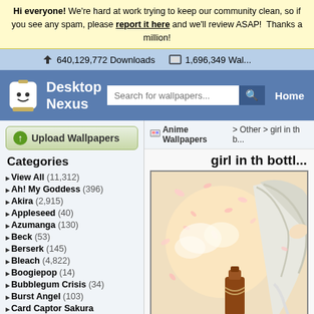Hi everyone! We're hard at work trying to keep our community clean, so if you see any spam, please report it here and we'll review ASAP! Thanks a million!
640,129,772 Downloads   1,696,349 Wallpapers
[Figure (screenshot): Desktop Nexus website logo with robot mascot and search bar]
Home
[Figure (screenshot): Upload Wallpapers button]
Anime Wallpapers > Other > girl in th b...
girl in th bottl...
Categories
View All (11,312)
Ah! My Goddess (396)
Akira (2,915)
Appleseed (40)
Azumanga (130)
Beck (53)
Berserk (145)
Bleach (4,822)
Boogiepop (14)
Bubblegum Crisis (34)
Burst Angel (103)
Card Captor Sakura (736)
Chobits (406)
Chrono Crusade (61)
[Figure (illustration): Anime wallpaper showing a girl with white hair holding a bottle, with cherry blossom petals]